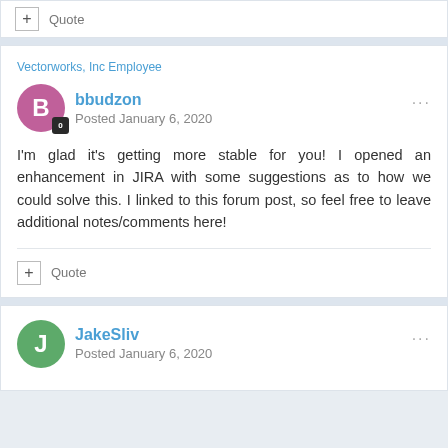+ Quote
Vectorworks, Inc Employee
bbudzon
Posted January 6, 2020
I'm glad it's getting more stable for you! I opened an enhancement in JIRA with some suggestions as to how we could solve this. I linked to this forum post, so feel free to leave additional notes/comments here!
+ Quote
JakeSliv
Posted January 6, 2020